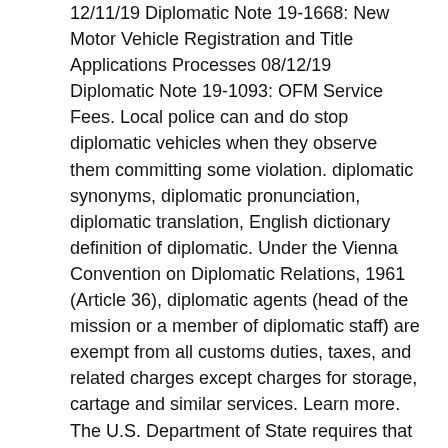12/11/19 Diplomatic Note 19-1668: New Motor Vehicle Registration and Title Applications Processes 08/12/19 Diplomatic Note 19-1093: OFM Service Fees. Local police can and do stop diplomatic vehicles when they observe them committing some violation. diplomatic synonyms, diplomatic pronunciation, diplomatic translation, English dictionary definition of diplomatic. Under the Vienna Convention on Diplomatic Relations, 1961 (Article 36), diplomatic agents (head of the mission or a member of diplomatic staff) are exempt from all customs duties, taxes, and related charges except charges for storage, cartage and similar services. Learn more. The U.S. Department of State requires that all vehicles owned, leased, or otherwise operated by a mission, its members, and their dependents must be registered with the Diplomatic Motor Vehicle Office (DMV), Office of Foreign Missions, U.S. Department of State, and must bear the distinctive red and blue Department of State license plates. – administrative staff (non-diplomatic staff who work at diplomatic missions) follow the same format, but with an X instead of a D. – many ambassadors like to personalise the plates on their own cars. There are always several meanings of each word in Urdu, the correct meaning of Diplomatic in Urdu is رمازنہ شناس, and in roman we write it … To arrange the